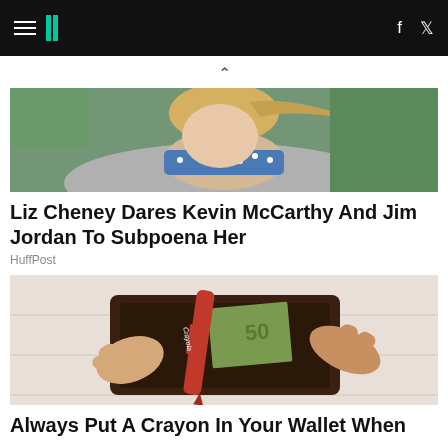HuffPost navigation with hamburger menu, logo, facebook and twitter icons
[Figure (photo): Partial photo of a woman with blonde hair and blue polka dot collar, likely Liz Cheney]
Liz Cheney Dares Kevin McCarthy And Jim Jordan To Subpoena Her
HuffPost
[Figure (photo): Photo of hands holding open a brown leather wallet containing a red Crayola crayon and euro banknotes]
Always Put A Crayon In Your Wallet When